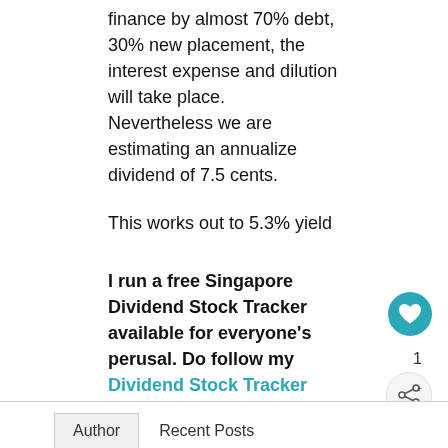finance by almost 70% debt, 30% new placement, the interest expense and dilution will take place.
Nevertheless we are estimating an annualize dividend of 7.5 cents.
This works out to 5.3% yield
I run a free Singapore Dividend Stock Tracker available for everyone's perusal. Do follow my Dividend Stock Tracker which is updated nightly here.
Author | Recent Posts